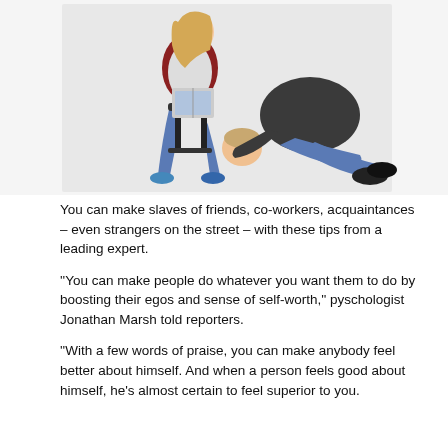[Figure (photo): A woman sitting on a chair reading a magazine while a man kneels on the floor with his head bowed down near her feet, on a white background.]
You can make slaves of friends, co-workers, acquaintances – even strangers on the street – with these tips from a leading expert.
"You can make people do whatever you want them to do by boosting their egos and sense of self-worth," pyschologist Jonathan Marsh told reporters.
"With a few words of praise, you can make anybody feel better about himself. And when a person feels good about himself, he's almost certain to feel superior to you.